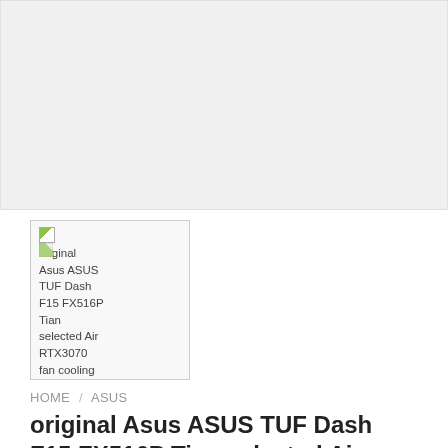[Figure (photo): Large gray placeholder image area at the top of the page]
[Figure (photo): Small thumbnail image with broken image icon showing text: original Asus ASUS TUF Dash F15 FX516P Tian selected Air RTX3070 fan cooling]
HOME / ASUS
original Asus ASUS TUF Dash F15 FX516P Tian selected Air RTX3070 fan cooling